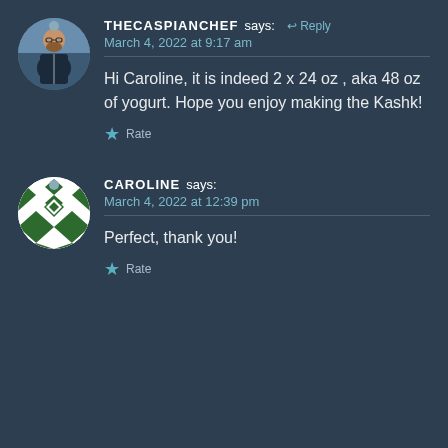THECASPIANCHEF says: ↩ Reply
March 4, 2022 at 9:17 am
Hi Caroline, it is indeed 2 x 24 oz , aka 48 oz of yogurt. Hope you enjoy making the Kashk!
CAROLINE says:
March 4, 2022 at 12:39 pm
Perfect, thank you!